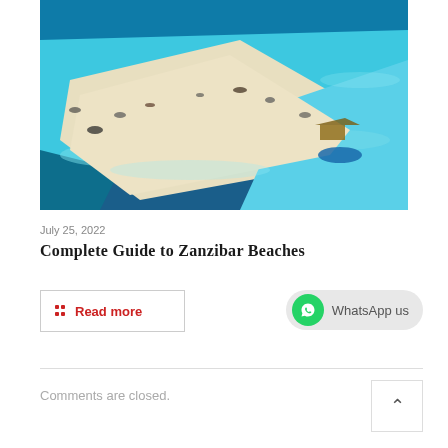[Figure (photo): Aerial view of a white sandy beach strip surrounded by turquoise ocean water, with boats and beach visitors visible from above. The sandbar curves diagonally across the image.]
July 25, 2022
Complete Guide to Zanzibar Beaches
Read more
WhatsApp us
Comments are closed.